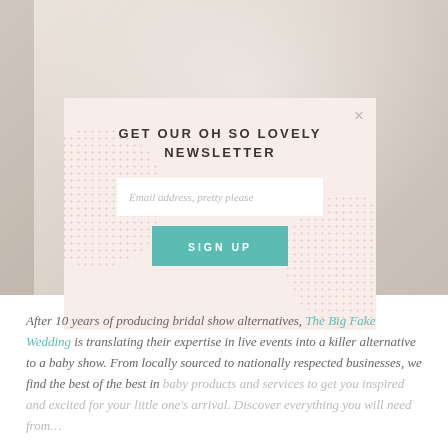[Figure (photo): Blurred background photo with decorative items, overlaid by a newsletter signup modal with pink/blush background, dotted pattern circles, title 'GET OUR OH SO LOVELY NEWSLETTER', email input field, and teal SIGN UP button]
After 10 years of producing bridal show alternatives, The Big Fake Wedding is translating their expertise in live events into a killer alternative to a baby show. From locally sourced to nationally respected businesses, we find the best of the best in baby products and services to get you inspired and excited for your little one's arrival. Discover everything you will need from…